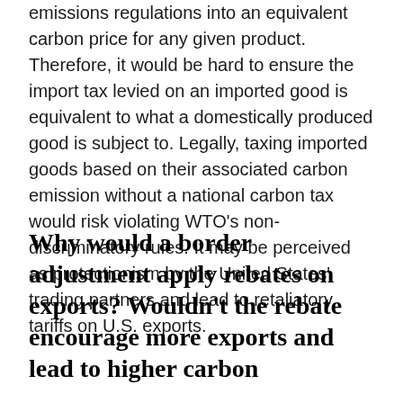emissions regulations into an equivalent carbon price for any given product. Therefore, it would be hard to ensure the import tax levied on an imported good is equivalent to what a domestically produced good is subject to. Legally, taxing imported goods based on their associated carbon emission without a national carbon tax would risk violating WTO's non-discriminatory rules. It may be perceived as protectionism by the United States' trading partners and lead to retaliatory tariffs on U.S. exports.
Why would a border adjustment apply rebates on exports? Wouldn't the rebate encourage more exports and lead to higher carbon